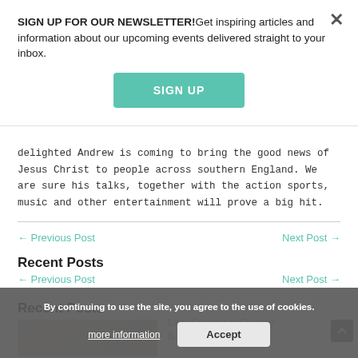SIGN UP FOR OUR NEWSLETTER!Get inspiring articles and information about our upcoming events delivered straight to your inbox.
SIGN UP
delighted Andrew is coming to bring the good news of Jesus Christ to people across southern England. We are sure his talks, together with the action sports, music and other entertainment will prove a big hit.
← Previous Post
Next Post →
Recent Posts
Lazy Sunday or Sunday Sabbath?
By continuing to use the site, you agree to the use of cookies. more information Accept